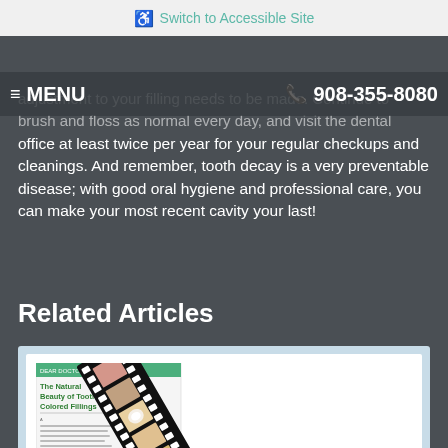Switch to Accessible Site
MENU | 908-355-8080
adjustment to your filling needs to be made. Continue to brush and floss as normal every day, and visit the dental office at least twice per year for your regular checkups and cleanings. And remember, tooth decay is a very preventable disease; with good oral hygiene and professional care, you can make your most recent cavity your last!
Related Articles
[Figure (photo): Article thumbnail showing 'The Natural Beauty of Tooth Colored Fillings' with a film strip graphic containing dental before/after photos]